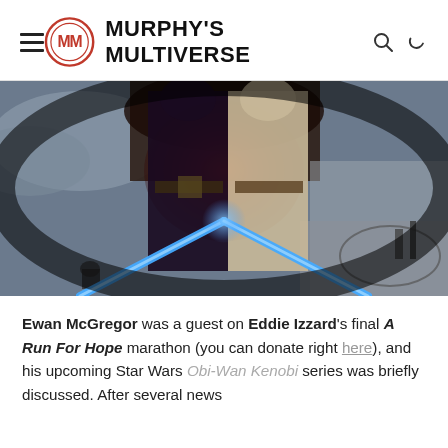Murphy's Multiverse
[Figure (photo): Two figures in Jedi robes facing each other with crossed blue lightsabers, set against a dramatic background. Behind them is a wide-angle set photo showing crew members and equipment on what appears to be a film set.]
Ewan McGregor was a guest on Eddie Izzard's final A Run For Hope marathon (you can donate right here), and his upcoming Star Wars Obi-Wan Kenobi series was briefly discussed. After several news